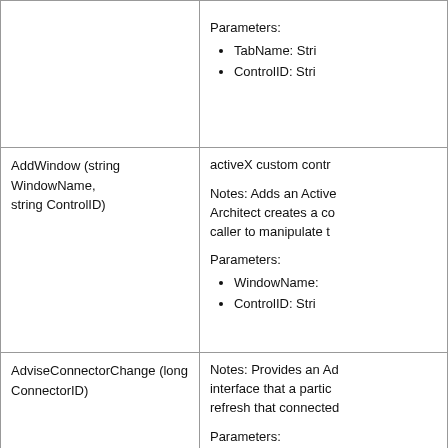| Method | Description |
| --- | --- |
| (partial top row) | Parameters:
• TabName: Str...
• ControlID: Str... |
| AddWindow (string WindowName, string ControlID) | activeX custom cont...

Notes: Adds an Activ... Architect creates a c... caller to manipulate ...

Parameters:
• WindowName: ...
• ControlID: Str... |
| AdviseConnectorChange (long ConnectorID) | Notes: Provides an A... interface that a parti... refresh that connecte...

Parameters:
• ConnectorID: L... |
| AdviseElementChange (long ObjectID) | Notes: Provides an A... interface that a parti... |